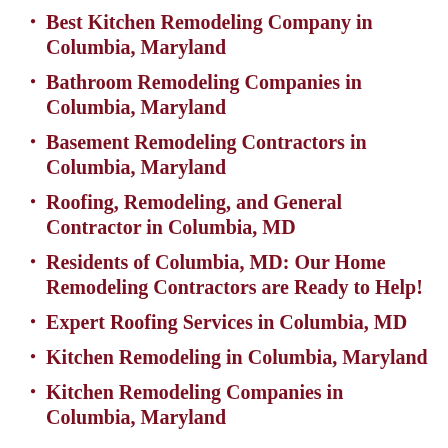Best Kitchen Remodeling Company in Columbia, Maryland
Bathroom Remodeling Companies in Columbia, Maryland
Basement Remodeling Contractors in Columbia, Maryland
Roofing, Remodeling, and General Contractor in Columbia, MD
Residents of Columbia, MD: Our Home Remodeling Contractors are Ready to Help!
Expert Roofing Services in Columbia, MD
Kitchen Remodeling in Columbia, Maryland
Kitchen Remodeling Companies in Columbia, Maryland